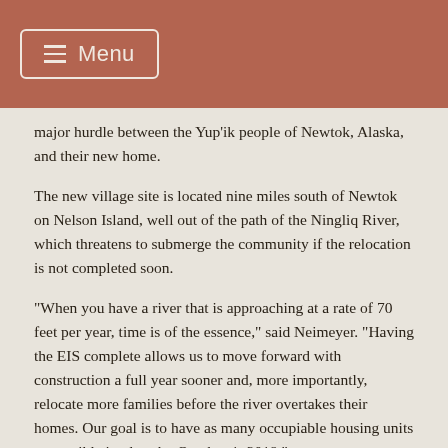Menu
major hurdle between the Yup’ik people of Newtok, Alaska, and their new home.
The new village site is located nine miles south of Newtok on Nelson Island, well out of the path of the Ningliq River, which threatens to submerge the community if the relocation is not completed soon.
“When you have a river that is approaching at a rate of 70 feet per year, time is of the essence,” said Neimeyer. “Having the EIS complete allows us to move forward with construction a full year sooner and, more importantly, relocate more families before the river overtakes their homes. Our goal is to have as many occupiable housing units as possible in place by October 1, 2019.”
For the past two years, the seven-member Denali Commission board has committed to making the relocation project “shovel-